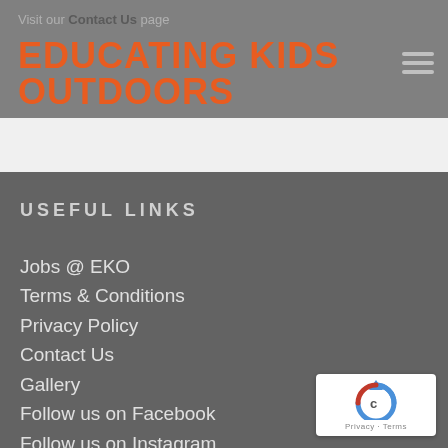Visit our Contact Us page
EDUCATING KIDS OUTDOORS
USEFUL LINKS
Jobs @ EKO
Terms & Conditions
Privacy Policy
Contact Us
Gallery
Follow us on Facebook
Follow us on Instagram
[Figure (logo): reCAPTCHA badge with Privacy and Terms links]